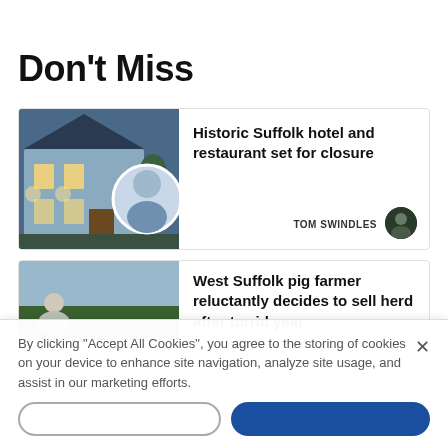Don't Miss
[Figure (photo): Article card showing a historic blue Suffolk hotel building with exterior lights and a circular inset portrait of a person in a blue shirt]
Historic Suffolk hotel and restaurant set for closure
TOM SWINDLES
[Figure (photo): Article card showing a man standing in front of trees and fields — a West Suffolk pig farmer]
West Suffolk pig farmer reluctantly decides to sell herd after torrid year
By clicking “Accept All Cookies”, you agree to the storing of cookies on your device to enhance site navigation, analyze site usage, and assist in our marketing efforts.